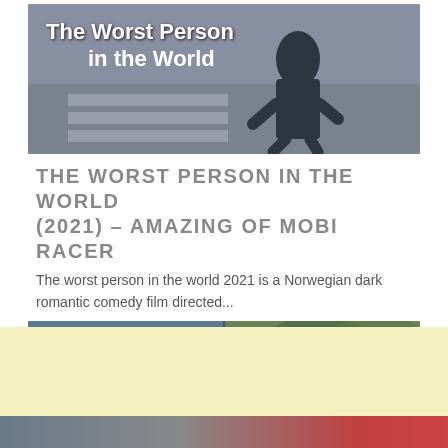[Figure (photo): Movie poster/still for 'The Worst Person in the World' showing a woman running across a street crosswalk with white text overlay reading 'The Worst Person in the World']
THE WORST PERSON IN THE WORLD (2021) – AMAZING OF MOBI RACER
The worst person in the world 2021 is a Norwegian dark romantic comedy film directed...
[Figure (photo): Movie still showing two people, partially obscured by a circular close/dismiss button with an X symbol]
[Figure (other): Yellow advertisement banner area]
[Figure (photo): Partial bottom strip showing another movie image]